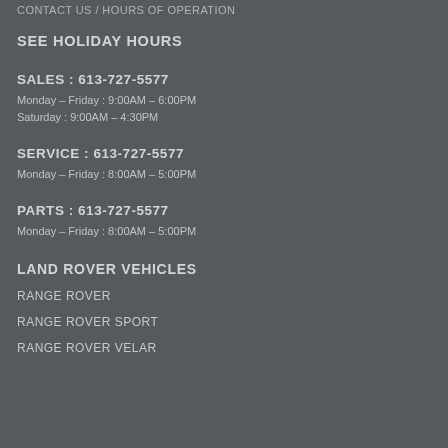CONTACT US / HOURS OF OPERATION
SEE HOLIDAY HOURS
SALES : 613-727-5577
Monday – Friday : 9:00AM – 6:00PM
Saturday : 9:00AM – 4:30PM
SERVICE : 613-727-5577
Monday – Friday : 8:00AM – 5:00PM
PARTS : 613-727-5577
Monday – Friday : 8:00AM – 5:00PM
LAND ROVER VEHICLES
RANGE ROVER
RANGE ROVER SPORT
RANGE ROVER VELAR